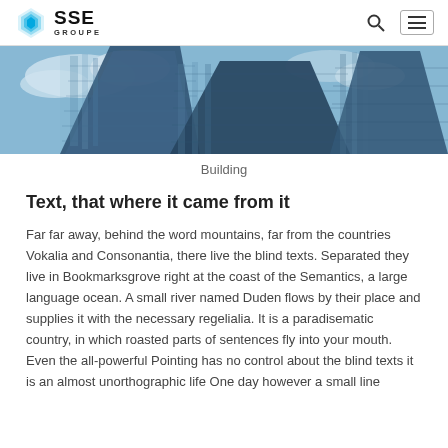SSE GROUPE
[Figure (photo): Looking up at modern glass skyscraper buildings reflecting blue sky and clouds]
Building
Text, that where it came from it
Far far away, behind the word mountains, far from the countries Vokalia and Consonantia, there live the blind texts. Separated they live in Bookmarksgrove right at the coast of the Semantics, a large language ocean. A small river named Duden flows by their place and supplies it with the necessary regelialia. It is a paradisematic country, in which roasted parts of sentences fly into your mouth. Even the all-powerful Pointing has no control about the blind texts it is an almost unorthographic life One day however a small line